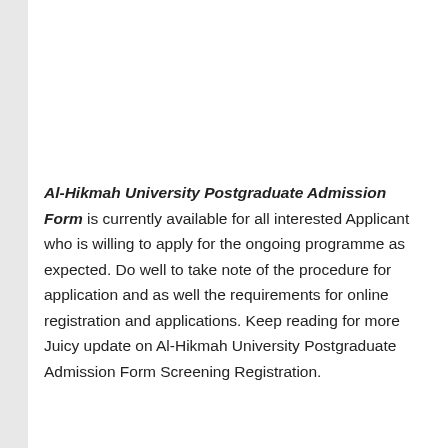Al-Hikmah University Postgraduate Admission Form is currently available for all interested Applicant who is willing to apply for the ongoing programme as expected. Do well to take note of the procedure for application and as well the requirements for online registration and applications. Keep reading for more Juicy update on Al-Hikmah University Postgraduate Admission Form Screening Registration.